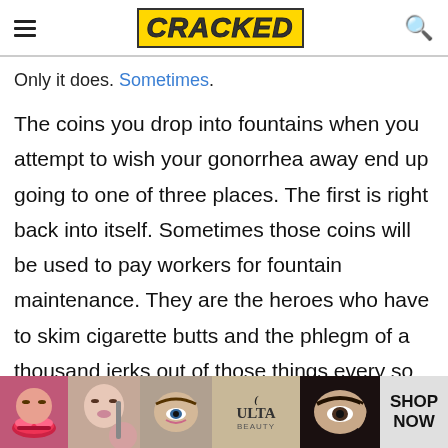CRACKED
Only it does. Sometimes.
The coins you drop into fountains when you attempt to wish your gonorrhea away end up going to one of three places. The first is right back into itself. Sometimes those coins will be used to pay workers for fountain maintenance. They are the heroes who have to skim cigarette butts and the phlegm of a thousand jerks out of those things every so often to make them sanitary enough so that the idiot child of an oblivious parent won't die of dysentery when they gulp down
[Figure (advertisement): Ulta Beauty advertisement banner showing close-up photos of women's faces with makeup, Ulta logo, and SHOP NOW call to action]